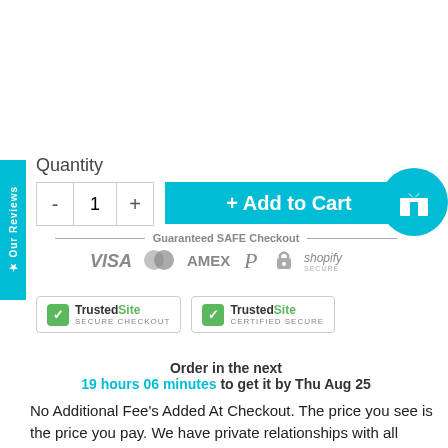★ Our Reviews
Quantity
- 1 +
+ Add to Cart
Guaranteed SAFE Checkout
[Figure (infographic): Payment method logos: VISA, Mastercard, AMEX, PayPal, padlock, Shopify Secure]
[Figure (logo): TrustedSite SECURE CHECKOUT badge]
[Figure (logo): TrustedSite CERTIFIED SECURE badge]
Order in the next
19 hours 06 minutes to get it by Thu Aug 25
No Additional Fee's Added At Checkout. The price you see is the price you pay. We have private relationships with all